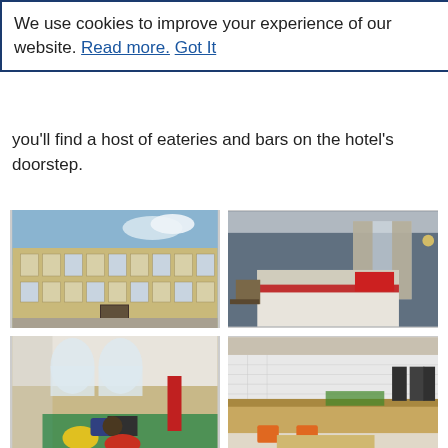We use cookies to improve your experience of our website. Read more. Got It
you'll find a host of eateries and bars on the hotel's doorstep.
[Figure (photo): Exterior of a Georgian-style stone hotel building with blue sky]
[Figure (photo): Hotel bedroom with white bed, red accent pillow and runner, grey walls]
[Figure (photo): Hotel lobby/lounge area with colourful seating, yellow and red ottomans on green carpet]
[Figure (photo): Hotel breakfast buffet area with food counter, coffee machines, orange chairs]
[Figure (photo): Additional hotel interior photo, partially visible]